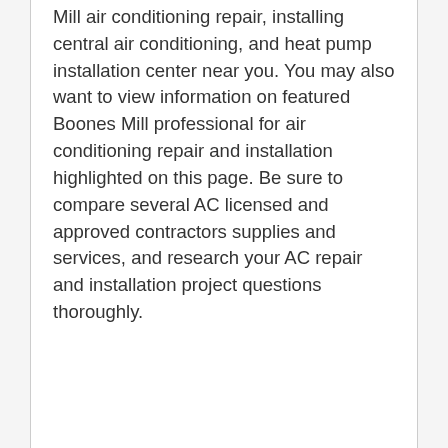Mill air conditioning repair, installing central air conditioning, and heat pump installation center near you. You may also want to view information on featured Boones Mill professional for air conditioning repair and installation highlighted on this page. Be sure to compare several AC licensed and approved contractors supplies and services, and research your AC repair and installation project questions thoroughly.